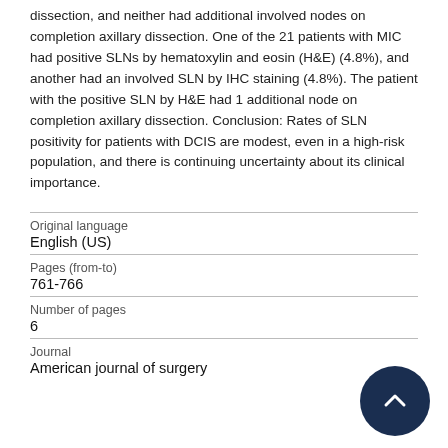dissection, and neither had additional involved nodes on completion axillary dissection. One of the 21 patients with MIC had positive SLNs by hematoxylin and eosin (H&E) (4.8%), and another had an involved SLN by IHC staining (4.8%). The patient with the positive SLN by H&E had 1 additional node on completion axillary dissection. Conclusion: Rates of SLN positivity for patients with DCIS are modest, even in a high-risk population, and there is continuing uncertainty about its clinical importance.
| Field | Value |
| --- | --- |
| Original language | English (US) |
| Pages (from-to) | 761-766 |
| Number of pages | 6 |
| Journal | American journal of surgery |